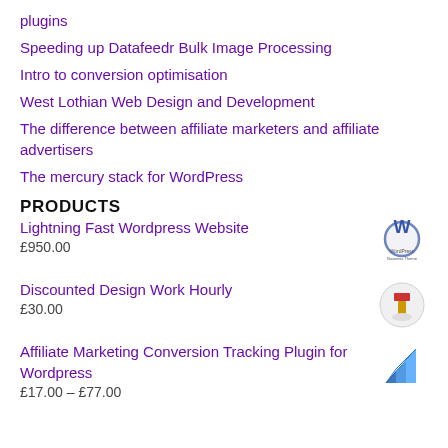plugins
Speeding up Datafeedr Bulk Image Processing
Intro to conversion optimisation
West Lothian Web Design and Development
The difference between affiliate marketers and affiliate advertisers
The mercury stack for WordPress
PRODUCTS
Lightning Fast Wordpress Website
£950.00
Discounted Design Work Hourly
£30.00
Affiliate Marketing Conversion Tracking Plugin for Wordpress
£17.00 – £77.00